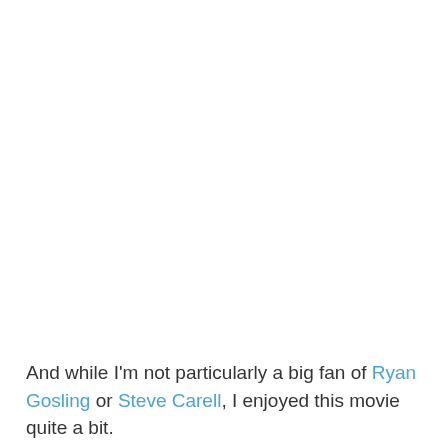And while I'm not particularly a big fan of Ryan Gosling or Steve Carell, I enjoyed this movie quite a bit.